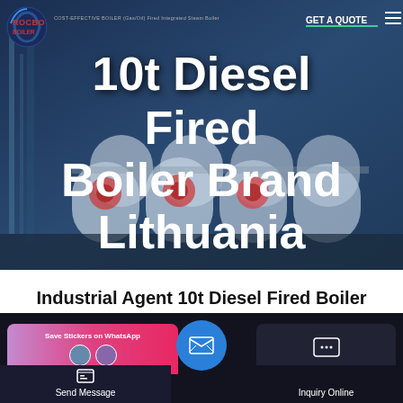[Figure (photo): Hero banner showing industrial steam boilers in a facility, with Rocbo Boiler logo, navigation elements, and large white text overlay]
10t Diesel Fired Boiler Brand Lithuania
Industrial Agent 10t Diesel Fired Boiler Brand Lithuania
[Figure (screenshot): Bottom action bar with Save Stickers on WhatsApp card, Send Message button, center email circular button, and Inquiry Online button on dark background]